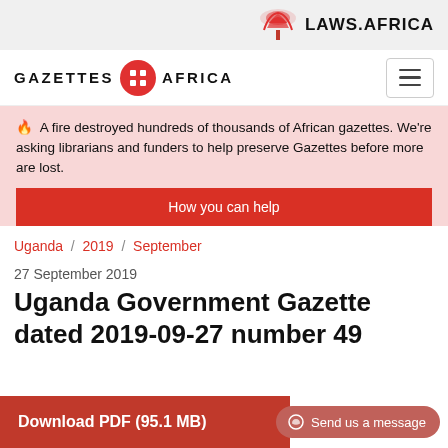[Figure (logo): LAWS.AFRICA logo with red acacia tree icon and bold text]
[Figure (logo): GAZETTES AFRICA logo with red circle icon containing grid, hamburger menu button]
🔥  A fire destroyed hundreds of thousands of African gazettes. We're asking librarians and funders to help preserve Gazettes before more are lost.
How you can help
Uganda / 2019 / September
27 September 2019
Uganda Government Gazette dated 2019-09-27 number 49
Download PDF (95.1 MB)
Send us a message